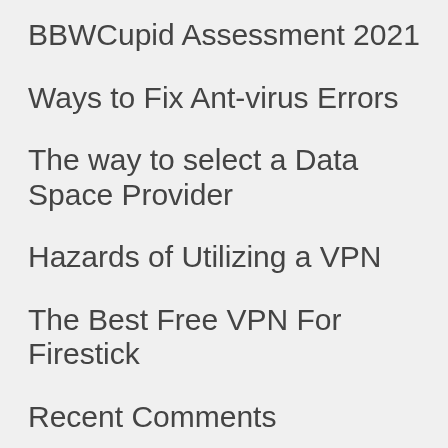BBWCupid Assessment 2021
Ways to Fix Ant-virus Errors
The way to select a Data Space Provider
Hazards of Utilizing a VPN
The Best Free VPN For Firestick
Recent Comments